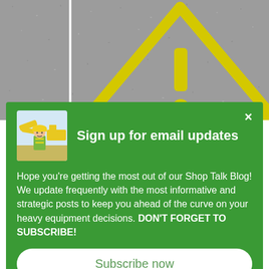[Figure (photo): Asphalt road surface with a yellow painted warning triangle (caution/exclamation mark sign) viewed from above. The triangle has a thick outline and an exclamation mark inside, painted in yellow on gray asphalt.]
[Figure (photo): Small thumbnail image of a construction worker in a yellow hard hat and green/yellow safety vest standing in front of yellow heavy equipment (excavators/cranes).]
Sign up for email updates
Hope you're getting the most out of our Shop Talk Blog! We update frequently with the most informative and strategic posts to keep you ahead of the curve on your heavy equipment decisions. DON'T FORGET TO SUBSCRIBE!
Subscribe now